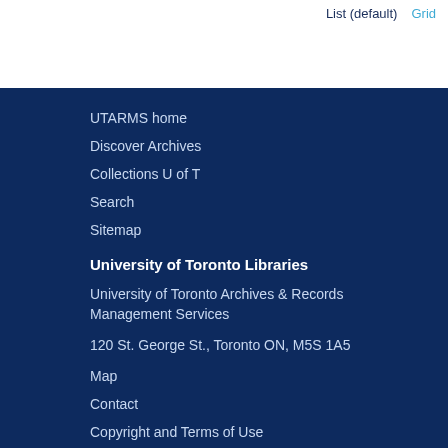List (default)   Grid
UTARMS home
Discover Archives
Collections U of T
Search
Sitemap
University of Toronto Libraries
University of Toronto Archives & Records Management Services
120 St. George St., Toronto ON, M5S 1A5
Map
Contact
Copyright and Terms of Use
Web accessibility and requesting alternate formats